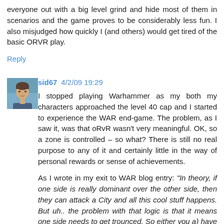everyone out with a big level grind and hide most of them in scenarios and the game proves to be considerably less fun. I also misjudged how quickly I (and others) would get tired of the basic ORVR play.
Reply
sid67  4/2/09 19:29
[Figure (photo): Avatar photo of user sid67 showing a person's face]
I stopped playing Warhammer as my both my characters approached the level 40 cap and I started to experience the WAR end-game. The problem, as I saw it, was that oRvR wasn't very meaningful. OK, so a zone is controlled – so what? There is still no real purpose to any of it and certainly little in the way of personal rewards or sense of achievements.
As I wrote in my exit to WAR blog entry: "In theory, if one side is really dominant over the other side, then they can attack a City and all this cool stuff happens. But uh.. the problem with that logic is that it means one side needs to get trounced. So either you a) have no opposition and can